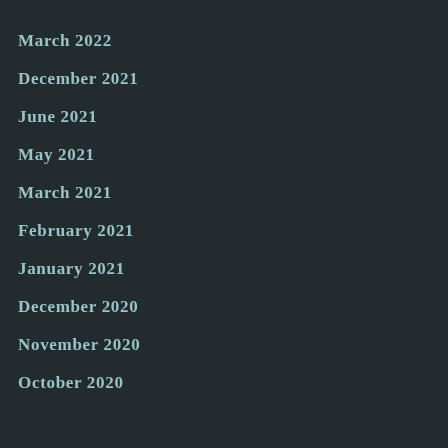March 2022
December 2021
June 2021
May 2021
March 2021
February 2021
January 2021
December 2020
November 2020
October 2020